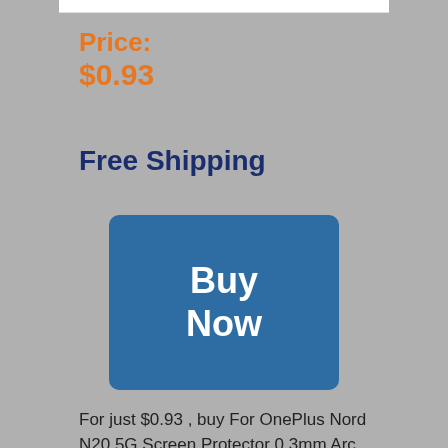Price:
$0.93
Free Shipping
[Figure (other): Blue 'Buy Now' button with rounded corners]
For just $0.93 , buy For OnePlus Nord N20 5G Screen Protector 0.3mm Arc Edges Smooth High